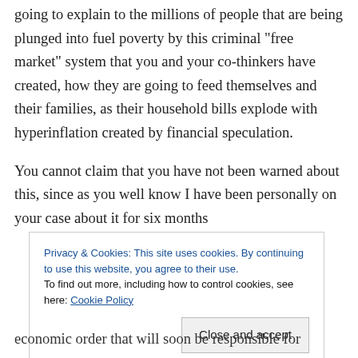going to explain to the millions of people that are being plunged into fuel poverty by this criminal “free market” system that you and your co-thinkers have created, how they are going to feed themselves and their families, as their household bills explode with hyperinflation created by financial speculation.
You cannot claim that you have not been warned about this, since as you well know I have been personally on your case about it for six months
Privacy & Cookies: This site uses cookies. By continuing to use this website, you agree to their use.
To find out more, including how to control cookies, see here: Cookie Policy
economic order that will soon be responsible for